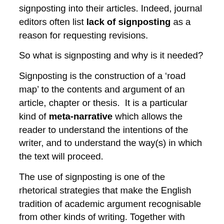signposting into their articles. Indeed, journal editors often list lack of signposting as a reason for requesting revisions.
So what is signposting and why is it needed?
Signposting is the construction of a ‘road map’ to the contents and argument of an article, chapter or thesis.  It is a particular kind of meta-narrative which allows the reader to understand the intentions of the writer, and to understand the way(s) in which the text will proceed.
The use of signposting is one of the rhetorical strategies that make the English tradition of academic argument recognisable from other kinds of writing. Together with citations, signposts signal to the reader that what they are reading is not journalism, not fiction, but  scholarly writing. (It is important to note that not all cultural traditions of